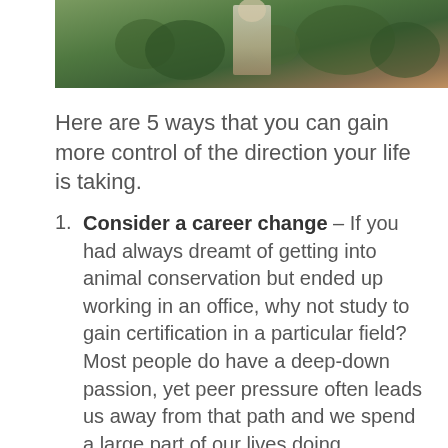[Figure (photo): A person standing outdoors in a natural green landscape, wearing a white shirt, with trees and foliage in the background.]
Here are 5 ways that you can gain more control of the direction your life is taking.
Consider a career change – If you had always dreamt of getting into animal conservation but ended up working in an office, why not study to gain certification in a particular field? Most people do have a deep-down passion, yet peer pressure often leads us away from that path and we spend a large part of our lives doing something we don't really enjoy.
Plan for the future – None of us know how long you will be here and it would be nice if your funeral service was pre-